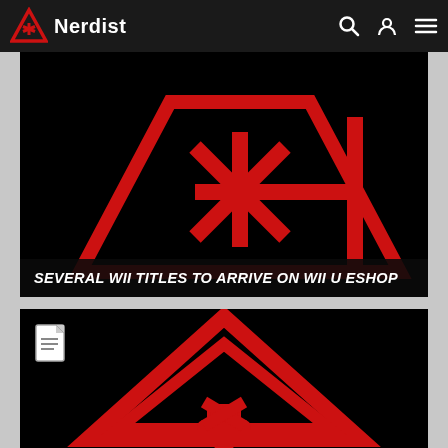Nerdist
[Figure (screenshot): Red Nerdist logo on black background — stylized triangle with asterisk symbol]
SEVERAL WII TITLES TO ARRIVE ON WII U ESHOP
[Figure (screenshot): Red Nerdist logo on black background — large triangle outline with asterisk/arrow symbol below, with document icon overlay]